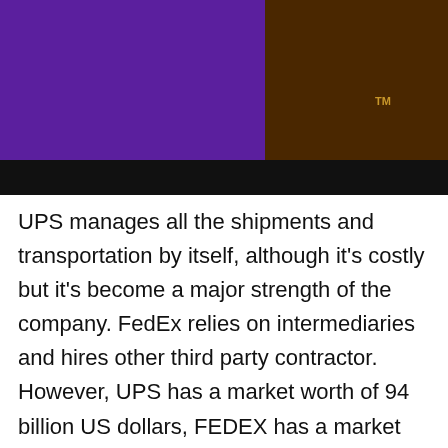[Figure (logo): UPS and FedEx logo banner. Left half is purple background, right half is dark brown with a UPS shield logo in gold/yellow and a TM mark. A black bar runs across the bottom of the image section.]
UPS manages all the shipments and transportation by itself, although it's costly but it's become a major strength of the company. FedEx relies on intermediaries and hires other third party contractor. However, UPS has a market worth of 94 billion US dollars, FEDEX has a market share worth 51 billion US dollars.